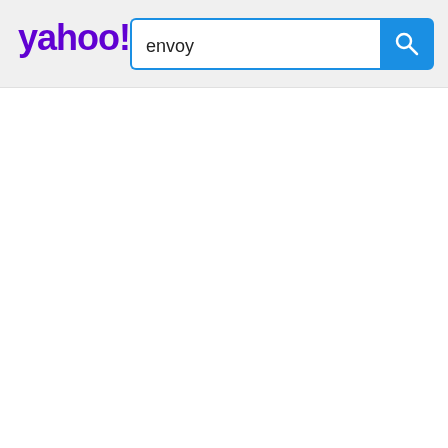[Figure (screenshot): Yahoo search bar header with purple Yahoo! logo on left, search input box containing the text 'envoy', and a blue search button with magnifying glass icon on the right.]
envoy